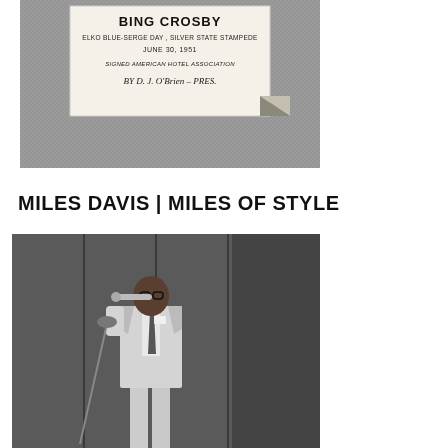[Figure (photo): Black and white photograph of a garment label reading: BING CROSBY, ELKO BLUE-SERGE DAY, SILVER STATE STAMPEDE, JUNE 30, 1951, SIGNED AMERICAN HOTEL ASSOCIATION BY D. J. O'Brien – PRES.]
MILES DAVIS | MILES OF STYLE
[Figure (photo): Black and white photograph of Miles Davis in a light-colored suit holding a trumpet, standing at a microphone on stage.]